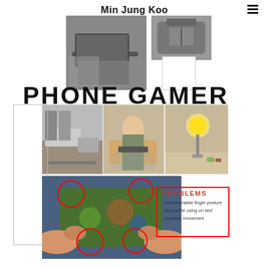Min Jung Koo
[Figure (photo): Black and white photo of laptop and papers on desk]
[Figure (photo): Black and white photo of a bag]
PHONE GAMER
[Figure (photo): Three photos: bedroom, person gaming at desk, desk with lamp]
[Figure (photo): Hands holding phone playing mobile game with red circles highlighting finger positions]
PROBLEMS
_uncomfortable finger posture
_drop while using on bed
_unstable movement